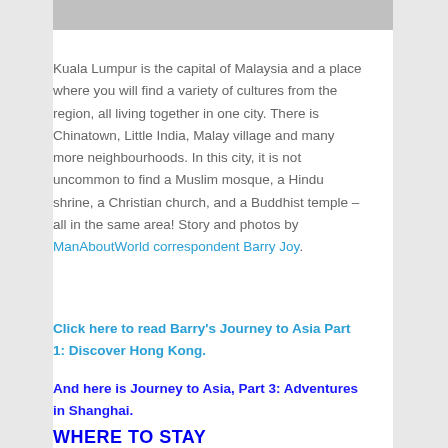[Figure (photo): Partial photo strip at top showing a street scene, cropped]
Kuala Lumpur is the capital of Malaysia and a place where you will find a variety of cultures from the region, all living together in one city. There is Chinatown, Little India, Malay village and many more neighbourhoods. In this city, it is not uncommon to find a Muslim mosque, a Hindu shrine, a Christian church, and a Buddhist temple – all in the same area! Story and photos by ManAboutWorld correspondent Barry Joy.
Click here to read Barry's Journey to Asia Part 1: Discover Hong Kong.
And here is Journey to Asia, Part 3: Adventures in Shanghai.
WHERE TO STAY